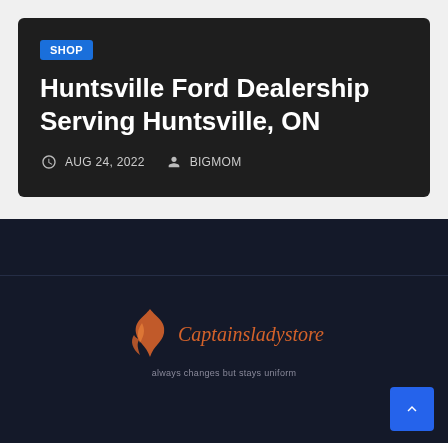SHOP
Huntsville Ford Dealership Serving Huntsville, ON
AUG 24, 2022   BIGMOM
[Figure (logo): Captainsladystore logo with orange flame icon and italic orange text reading 'Captainsladystore' with a tagline below]
[Figure (other): Blue back-to-top button with upward arrow chevron in bottom right corner]